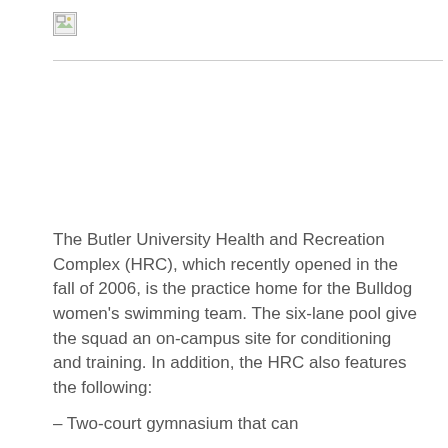[Figure (photo): Broken/missing image placeholder with a small icon in the top-left corner, with a horizontal line beneath it]
The Butler University Health and Recreation Complex (HRC), which recently opened in the fall of 2006, is the practice home for the Bulldog women's swimming team. The six-lane pool give the squad an on-campus site for conditioning and training. In addition, the HRC also features the following:
– Two-court gymnasium that can